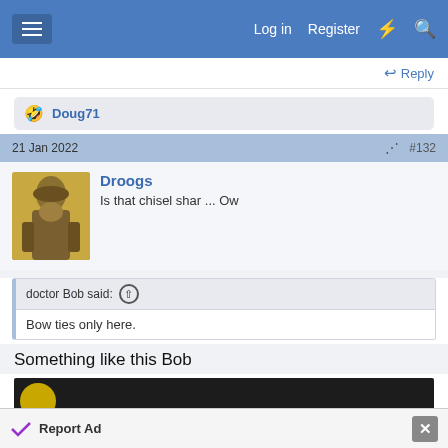Log in  Register
Doug71
21 Jan 2022  #132
Droogs
Is that chisel shar ... Ow
doctor Bob said:
Bow ties only here.
Something like this Bob
[Figure (photo): Partial dark image with a yellow circular element visible]
Report Ad